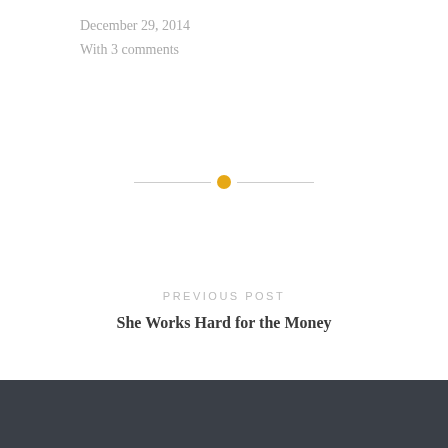December 29, 2014
With 3 comments
[Figure (other): Horizontal divider with orange circle dot in center]
PREVIOUS POST
She Works Hard for the Money
NEXT POST
Yamboree 2013